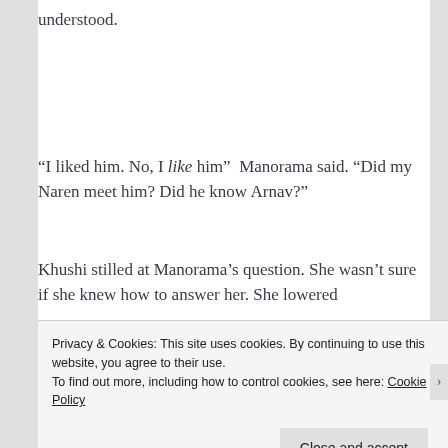understood.
“I liked him. No, I like him”  Manorama said. “Did my Naren meet him? Did he know Arnav?”
Khushi stilled at Manorama’s question. She wasn’t sure if she knew how to answer her. She lowered
Privacy & Cookies: This site uses cookies. By continuing to use this website, you agree to their use.
To find out more, including how to control cookies, see here: Cookie Policy